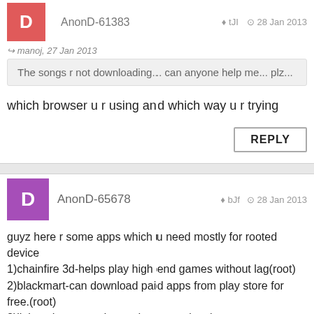AnonD-61383  tJI  28 Jan 2013
manoj, 27 Jan 2013
The songs r not downloading... can anyone help me... plz...
which browser u r using and which way u r trying
REPLY
AnonD-65678  bJf  28 Jan 2013
guyz here r some apps which u need mostly for rooted device
1)chainfire 3d-helps play high end games without lag(root)
2)blackmart-can download paid apps from play store for free.(root)
3)linktosd-saves ur internal memory.(root)
4)titanium backup-make phone backup and also to uninstall phone apps(root)
5)busy box-need for some internal commandz.(root)
6)seeder-helpz reduces lags to some extent(root).